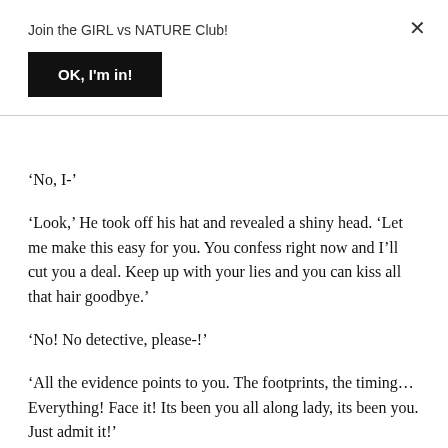Join the GIRL vs NATURE Club!
OK, I'm in!
‘No, I-’
‘Look,’ He took off his hat and revealed a shiny head. ‘Let me make this easy for you. You confess right now and I’ll cut you a deal. Keep up with your lies and you can kiss all that hair goodbye.’
‘No! No detective, please-!’
‘All the evidence points to you. The footprints, the timing… Everything! Face it! Its been you all along lady, its been you. Just admit it!’